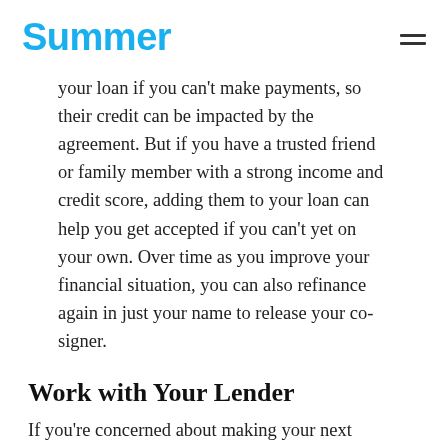Summer
your loan if you can't make payments, so their credit can be impacted by the agreement. But if you have a trusted friend or family member with a strong income and credit score, adding them to your loan can help you get accepted if you can't yet on your own. Over time as you improve your financial situation, you can also refinance again in just your name to release your co-signer.
Work with Your Lender
If you're concerned about making your next